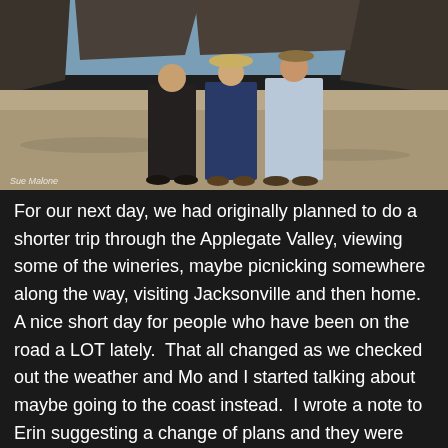[Figure (photo): Three people standing on a sandy beach with rocky outcroppings in the background. A watermark reading 'Sue Malone' appears in the lower left corner of the photo.]
For our next day, we had originally planned to do a shorter trip through the Applegate Valley, viewing some of the wineries, maybe picnicking somewhere along the way, visiting Jacksonville and then home.  A nice short day for people who have been on the road a LOT lately.  That all changed as we checked out the weather and Mo and I started talking about maybe going to the coast instead.  I wrote a note to Erin suggesting a change of plans and they were right on board.